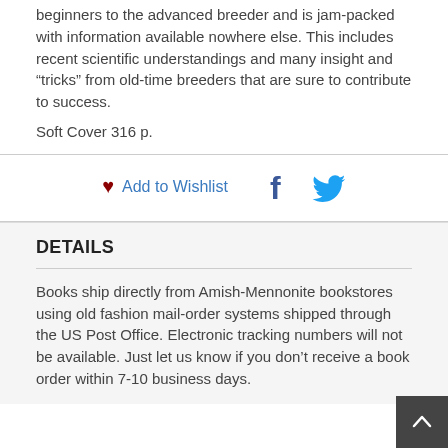beginners to the advanced breeder and is jam-packed with information available nowhere else. This includes recent scientific understandings and many insight and “tricks” from old-time breeders that are sure to contribute to success.
Soft Cover 316 p.
Add to Wishlist
DETAILS
Books ship directly from Amish-Mennonite bookstores using old fashion mail-order systems shipped through the US Post Office. Electronic tracking numbers will not be available. Just let us know if you don’t receive a book order within 7-10 business days.